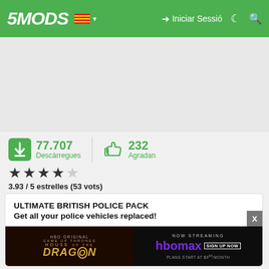5MODS — Iniciar Sessió
77.707 Descàrregues | 232 Agradan
3.93 / 5 estrelles (53 vots)
ULTIMATE BRITISH POLICE PACK
Get all your police vehicles replaced!
Are you tired of crashing and ruining your game while installing police mod? Have you lost your mood to play GTA 5 because the mods ain't working as they should be? Well, I have solution
[Figure (screenshot): Advertisement banner for HBO Max - House of the Dragon, showing NOW STREAMING HBOMAX SIGN UP NOW, PLANS START AT $9/MONTH]